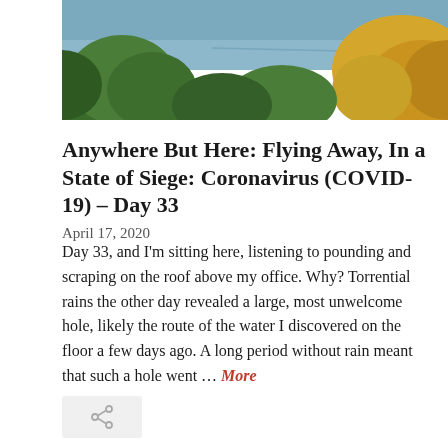[Figure (photo): Aerial or elevated view of water (lake or river) behind green trees and yellow flowers, partially cropped at top of page]
Anywhere But Here: Flying Away, In a State of Siege: Coronavirus (COVID-19) – Day 33
April 17, 2020
Day 33, and I'm sitting here, listening to pounding and scraping on the roof above my office. Why? Torrential rains the other day revealed a large, most unwelcome hole, likely the route of the water I discovered on the floor a few days ago. A long period without rain meant that such a hole went … More
[Figure (illustration): Share/link icon button — a small circular share symbol in grey on a light grey rounded rectangle]